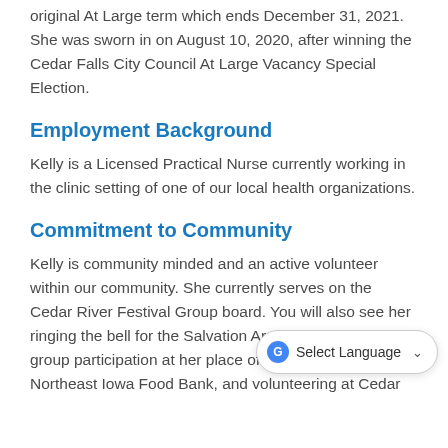original At Large term which ends December 31, 2021. She was sworn in on August 10, 2020, after winning the Cedar Falls City Council At Large Vacancy Special Election.
Employment Background
Kelly is a Licensed Practical Nurse currently working in the clinic setting of one of our local health organizations.
Commitment to Community
Kelly is community minded and an active volunteer within our community. She currently serves on the Cedar River Festival Group board. You will also see her ringing the bell for the Salvation Army, organizing large group participation at her place of work, supporting the Northeast Iowa Food Bank, and volunteering at Cedar